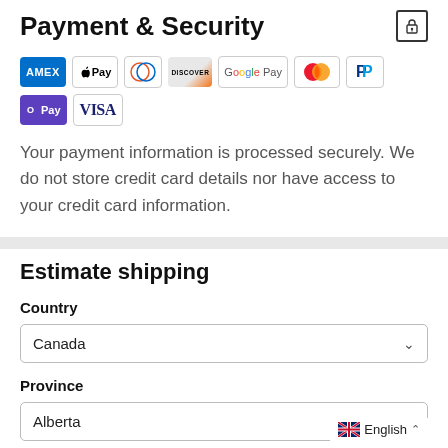Payment & Security
[Figure (infographic): Payment method logos: AMEX, Apple Pay, Diners, Discover, Google Pay, Mastercard, PayPal, Shop Pay, Visa]
Your payment information is processed securely. We do not store credit card details nor have access to your credit card information.
Estimate shipping
Country
Canada
Province
Alberta
English